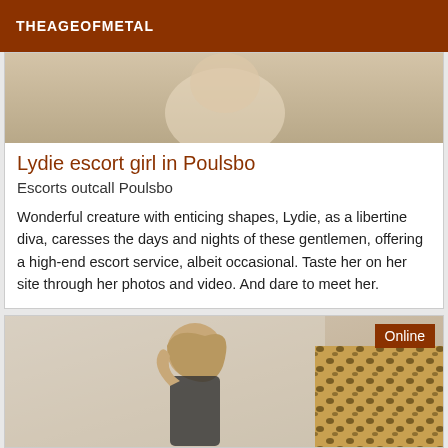THEAGEOFMETAL
[Figure (photo): Partial photo visible at top of card, showing a person with light/warm tones]
Lydie escort girl in Poulsbo
Escorts outcall Poulsbo
Wonderful creature with enticing shapes, Lydie, as a libertine diva, caresses the days and nights of these gentlemen, offering a high-end escort service, albeit occasional. Taste her on her site through her photos and video. And dare to meet her.
[Figure (photo): Photo of a woman with long blonde hair, hand raised to head, wearing dark clothing, with a leopard print item visible to the right. Online badge displayed in top right corner.]